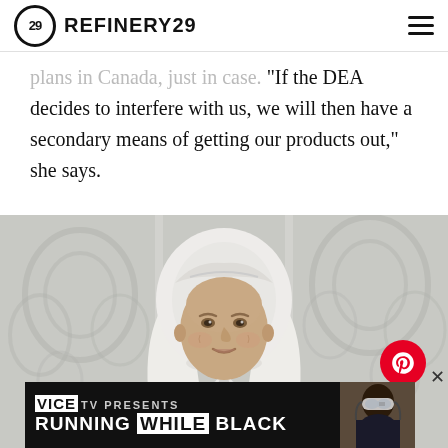REFINERY29
plans in Canada, just in case. "If the DEA decides to interfere with us, we will then have a secondary means of getting our products out," she says.
[Figure (photo): Portrait photo of an older woman wearing a white head covering resembling a nun's habit, smiling gently, in front of a white decorative background. A Pinterest share button (red circle with P) appears in the lower right of the image, along with an X close button.]
[Figure (screenshot): Advertisement banner for VICE TV Presents: RUNNING WHILE BLACK, with a person wearing ski goggles on the right side.]